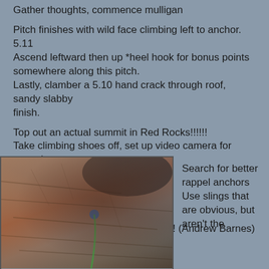Gather thoughts, commence mulligan
Pitch finishes with wild face climbing left to anchor.  5.11 Ascend leftward then up *heel hook for bonus points somewhere along this pitch.
Lastly, clamber a 5.10 hand crack through roof, sandy slabby finish.
Top out an actual summit in Red Rocks!!!!!!
Take climbing shoes off, set up video camera for summit dance.
Stub toe
Eat peanut butter sandwich
Sign summit register
Pause for a moment of Gratitude!!!!! (Andrew Barnes)
[Figure (photo): Photo of rock climbing scene showing layered sandstone rock face with a climber visible in blue, and a green rope, taken at Red Rocks]
Search for better rappel anchors
Use slings that are obvious, but aren't the